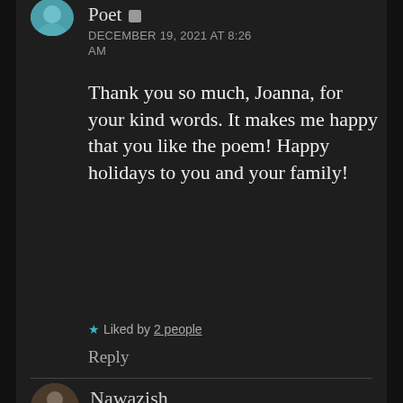[Figure (photo): Circular avatar of a person, partially visible at top of page]
Poet
DECEMBER 19, 2021 AT 8:26 AM
Thank you so much, Joanna, for your kind words. It makes me happy that you like the poem! Happy holidays to you and your family!
★ Liked by 2 people
Reply
[Figure (photo): Circular avatar of a person standing outdoors]
Nawazish
DECEMBER 19, 2021 AT 8:29 AM